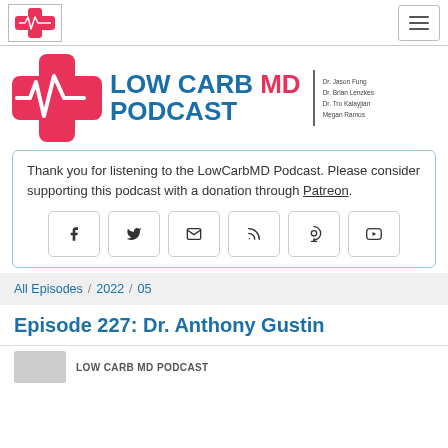[Figure (logo): Low Carb MD Podcast logo in nav bar - red cross with heartbeat line]
[Figure (logo): Low Carb MD Podcast main header logo with red cross/heartbeat icon and blue/red title text with host names]
Thank you for listening to the LowCarbMD Podcast. Please consider supporting this podcast with a donation through Patreon.
[Figure (infographic): Row of 6 social media icon buttons: Facebook, Twitter, Email, RSS, Podcast, YouTube]
All Episodes / 2022 / 05
Episode 227: Dr. Anthony Gustin
[Figure (logo): LOW CARB MD PODCAST thumbnail image placeholder]